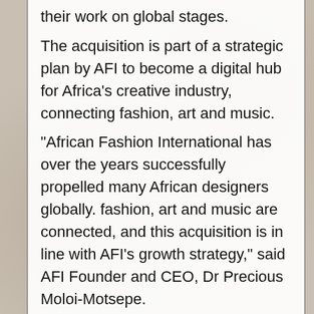their work on global stages. The acquisition is part of a strategic plan by AFI to become a digital hub for Africa's creative industry, connecting fashion, art and music. “African Fashion International has over the years successfully propelled many African designers globally. fashion, art and music are connected, and this acquisition is in line with AFI’s growth strategy,” said AFI Founder and CEO, Dr Precious Moloi-Motsepe. Started in 2016, the online store aims to